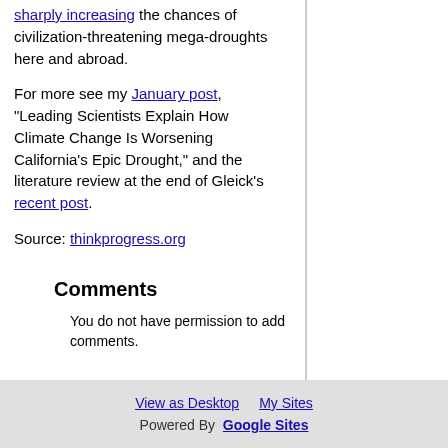sharply increasing the chances of civilization-threatening mega-droughts here and abroad.
For more see my January post, “Leading Scientists Explain How Climate Change Is Worsening California’s Epic Drought,” and the literature review at the end of Gleick’s recent post.
Source: thinkprogress.org
Comments
You do not have permission to add comments.
View as Desktop   My Sites
Powered By  Google Sites